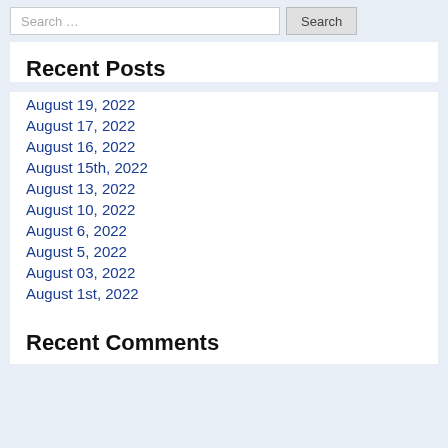Search ...
Recent Posts
August 19, 2022
August 17, 2022
August 16, 2022
August 15th, 2022
August 13, 2022
August 10, 2022
August 6, 2022
August 5, 2022
August 03, 2022
August 1st, 2022
Recent Comments